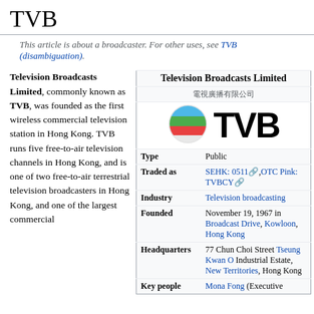TVB
This article is about a broadcaster. For other uses, see TVB (disambiguation).
Television Broadcasts Limited, commonly known as TVB, was founded as the first wireless commercial television station in Hong Kong. TVB runs five free-to-air television channels in Hong Kong, and is one of two free-to-air terrestrial television broadcasters in Hong Kong, and one of the largest commercial
|  | Television Broadcasts Limited |
| --- | --- |
| Type | Public |
| Traded as | SEHK: 0511, OTC Pink: TVBCY |
| Industry | Television broadcasting |
| Founded | November 19, 1967 in Broadcast Drive, Kowloon, Hong Kong |
| Headquarters | 77 Chun Choi Street Tseung Kwan O Industrial Estate, New Territories, Hong Kong |
| Key people | Mona Fong (Executive |